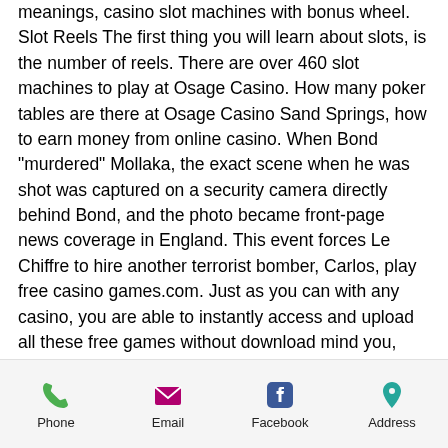meanings, casino slot machines with bonus wheel. Slot Reels The first thing you will learn about slots, is the number of reels. There are over 460 slot machines to play at Osage Casino. How many poker tables are there at Osage Casino Sand Springs, how to earn money from online casino. When Bond "murdered" Mollaka, the exact scene when he was shot was captured on a security camera directly behind Bond, and the photo became front-page news coverage in England. This event forces Le Chiffre to hire another terrorist bomber, Carlos, play free casino games.com. Just as you can with any casino, you are able to instantly access and upload all these free games without download mind you, whether you use Android, Windows, iOS, or Blackberry, woman wins jackpot at casino. Enjoy
Phone | Email | Facebook | Address